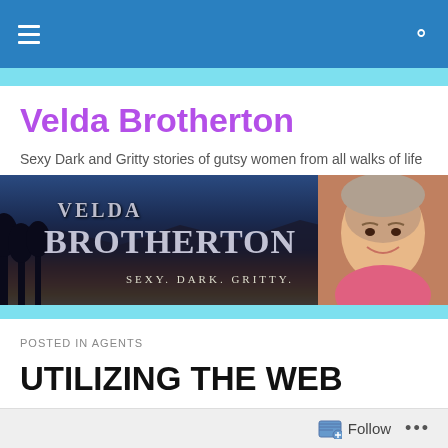Velda Brotherton — site navigation header
Velda Brotherton
Sexy Dark and Gritty stories of gutsy women from all walks of life
[Figure (illustration): Website banner for Velda Brotherton showing a sunset landscape with silhouetted trees, bold stylized text 'VELDA BROTHERTON' and tagline 'SEXY. DARK. GRITTY.' with a photo of a smiling older woman on the right side.]
POSTED IN AGENTS
UTILIZING THE WEB
Follow